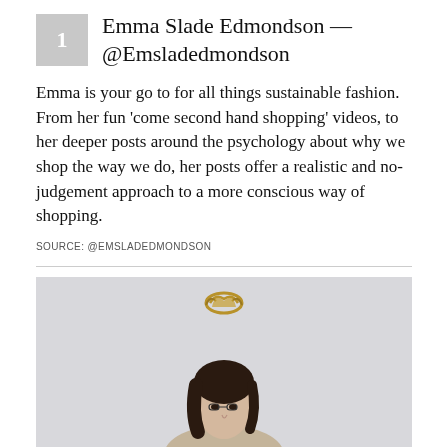Emma Slade Edmondson — @Emsladedmondson
Emma is your go to for all things sustainable fashion. From her fun ‘come second hand shopping’ videos, to her deeper posts around the psychology about why we shop the way we do, her posts offer a realistic and no-judgement approach to a more conscious way of shopping.
SOURCE: @EMSLADEDMONDSON
[Figure (photo): A woman with dark hair photographed against a light grey wall, with a decorative gold/bronze crown or wreath ornament visible above her head.]